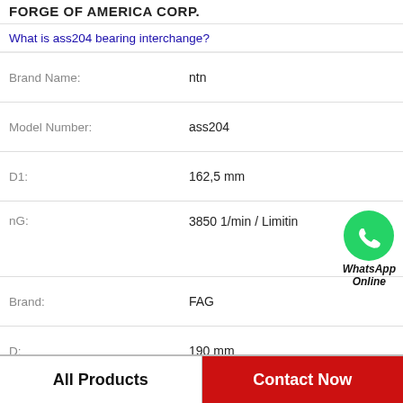FORGE OF AMERICA CORP.
What is ass204 bearing interchange?
| Property | Value |
| --- | --- |
| Brand Name: | ntn |
| Model Number: | ass204 |
| D1: | 162,5 mm |
| nG: | 3850 1/min / Limitin |
| Brand: | FAG |
| D: | 190 mm |
| rmin: | 3 mm |
| Da max: | 176 mm |
[Figure (logo): WhatsApp Online green circle logo with phone icon and label 'WhatsApp Online']
All Products   Contact Now